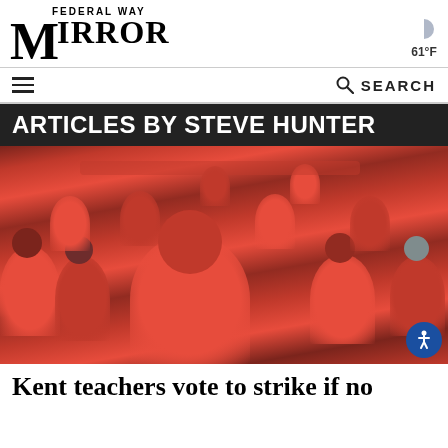Federal Way Mirror — 61°F
ARTICLES BY STEVE HUNTER
[Figure (photo): A large crowd of people wearing red KÉA (Kent Education Association) t-shirts walking together, likely on a picket line or demonstration. A woman with red hair in the foreground is smiling.]
Kent teachers vote to strike if no